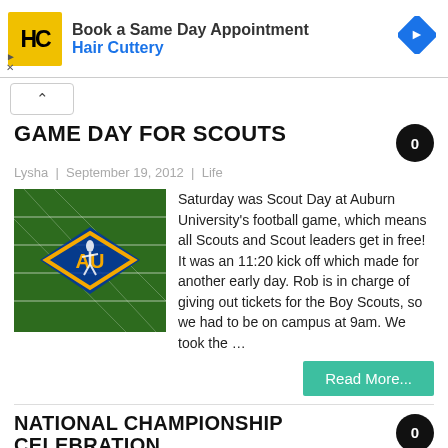[Figure (screenshot): Hair Cuttery advertisement banner showing HC logo, 'Book a Same Day Appointment', 'Hair Cuttery' text in blue, and a blue diamond arrow icon]
[Figure (other): Collapse/scroll up button with upward chevron arrow]
GAME DAY FOR SCOUTS
Lysha  |  September 19, 2012  |  Life
[Figure (photo): Aerial view of Auburn University football field showing the AU logo at midfield with a player or figure visible]
Saturday was Scout Day at Auburn University's football game, which means all Scouts and Scout leaders get in free! It was an 11:20 kick off which made for another early day. Rob is in charge of giving out tickets for the Boy Scouts, so we had to be on campus at 9am. We took the …
Read More...
NATIONAL CHAMPIONSHIP CELEBRATION
Lysha  |  January 22, 2011  |  Life